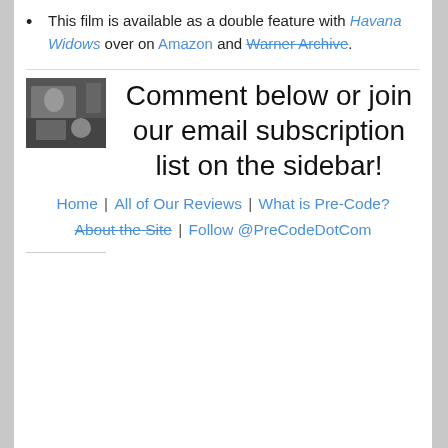This film is available as a double feature with Havana Widows over on Amazon and Warner Archive.
[Figure (photo): Small black and white thumbnail photo of a film scene]
Comment below or join our email subscription list on the sidebar!
Home | All of Our Reviews | What is Pre-Code? About the Site | Follow @PreCodeDotCom